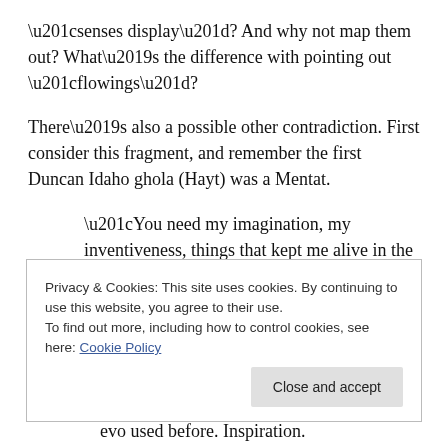“senses display”? And why not map them out? What’s the difference with pointing out “flowings”?
There’s also a possible other contradiction. First consider this fragment, and remember the first Duncan Idaho ghola (Hayt) was a Mentat.
“You need my imagination, my inventiveness, things that kept me alive in the face of Leto’s wrath.”
[Idaho]
Yet. Odrada doesn’t consider Mentats inventive.
Privacy & Cookies: This site uses cookies. By continuing to use this website, you agree to their use.
To find out more, including how to control cookies, see here: Cookie Policy
evo used before. Inspiration.